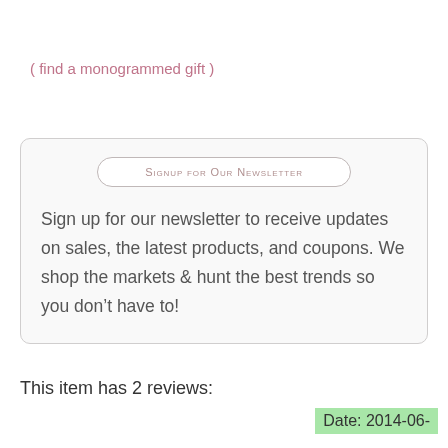( find a monogrammed gift )
Signup for Our Newsletter
Sign up for our newsletter to receive updates on sales, the latest products, and coupons. We shop the markets & hunt the best trends so you don’t have to!
This item has 2 reviews:
Date: 2014-06-